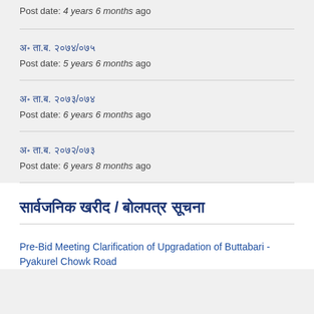Post date: 4 years 6 months ago
अ॰ ता.ब. २०७४/०७५
Post date: 5 years 6 months ago
अ॰ ता.ब. २०७३/०७४
Post date: 6 years 6 months ago
अ॰ ता.ब. २०७२/०७३
Post date: 6 years 8 months ago
सार्वजनिक खरीद / बोलपत्र सूचना
Pre-Bid Meeting Clarification of Upgradation of Buttabari - Pyakurel Chowk Road